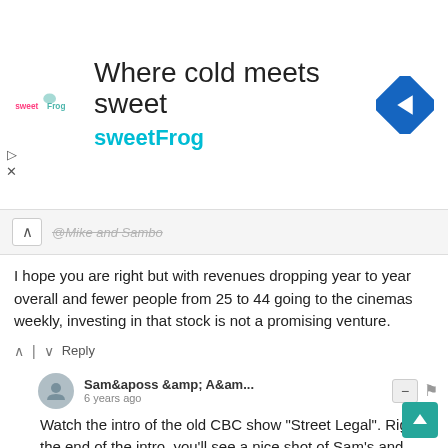[Figure (screenshot): sweetFrog ad banner with logo, tagline 'Where cold meets sweet', brand name 'sweetFrog' in teal, and a blue navigation/direction diamond icon on the right. Close/play icons on the left side.]
@Mike and Sambo
I hope you are right but with revenues dropping year to year overall and fewer people from 25 to 44 going to the cinemas weekly, investing in that stock is not a promising venture.
^ | v  Reply
Sam&amp;aposs &amp; A&am...  6 years ago
Watch the intro of the old CBC show "Street Legal". Right at the end of the intro, you'll see a nice shot of Sam's and A&A's. Fondly remembered.
Street Legal Season 1 — disq.us
^ | v  Reply